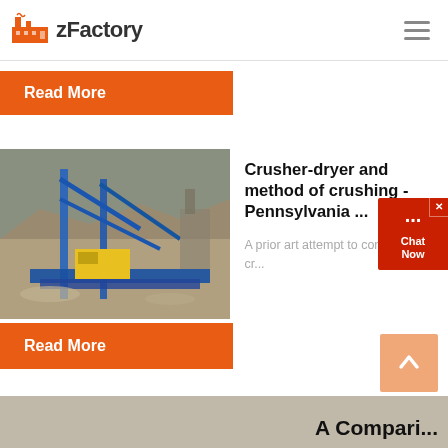zFactory
Read More
[Figure (photo): Industrial crusher-dryer machine at a mining/quarrying site with blue metal framework and conveyor belts, mountains/excavated terrain visible in background]
Crusher-dryer and method of crushing - Pennsylvania ...
A prior art attempt to combine cr...
Read More